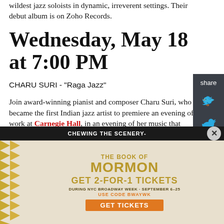wildest jazz soloists in dynamic, irreverent settings. Their debut album is on Zoho Records.
Wednesday, May 18 at 7:00 PM
CHARU SURI - "Raga Jazz"
Join award-winning pianist and composer Charu Suri, who became the first Indian jazz artist to premiere an evening of work at Carnegie Hall, in an evening of her music that draws from her native Indian rhythms and ragas (modal scales), in an enthralling, energetic and soulful musical experience
[Figure (screenshot): Share panel with Twitter and Facebook icons on dark background]
[Figure (infographic): Advertisement for The Book of Mormon musical. GET 2-FOR-1 TICKETS DURING NYC BROADWAY WEEK - SEPTEMBER 6-25, USE CODE BWAYWK, GET TICKETS button.]